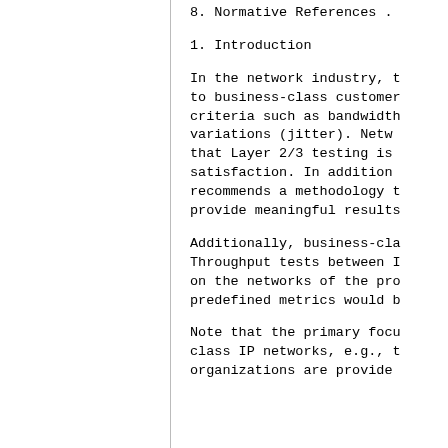8. Normative References .
1.  Introduction
In the network industry, t to business-class customer criteria such as bandwidth variations (jitter). Netw that Layer 2/3 testing is satisfaction.  In addition recommends a methodology t provide meaningful results
Additionally, business-cla Throughput tests between I on the networks of the pro predefined metrics would b
Note that the primary focu class IP networks, e.g., t organizations are provide